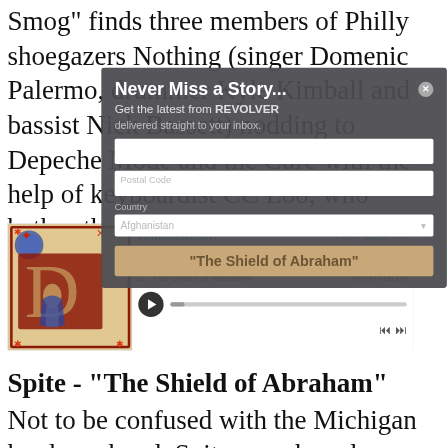Smog" finds three members of Philly shoegazers Nothing (singer Domenic Palermo, drummer Kyle Kimball and bassist Nick Bassett) nodding to Depeche Mode and the Cure with the help of keyboardist CC Loo, who bathes the surrounding miasma in warm, sparkling synths. Robert Smith, eat your heart out.
[Figure (screenshot): Bandcamp music player widget showing album 'Antimoshiach' by Spite, with track '2. The Shield of Abraham' at 00:00 / 05:05, with play controls and navigation buttons.]
[Figure (screenshot): Modal popup overlay with heading 'Never Miss a Story...', subtitle 'Get the latest from REVOLVER delivered straight to your inbox.', email input field, postal code field, country dropdown set to 'Afghanistan', and a subscribe button highlighted in tan/gold color showing 'The Shield of Abraham'.]
Spite - "The Shield of Abraham"
Not to be confused with the Michigan hardcore band, Spite are a brand new black-metal group